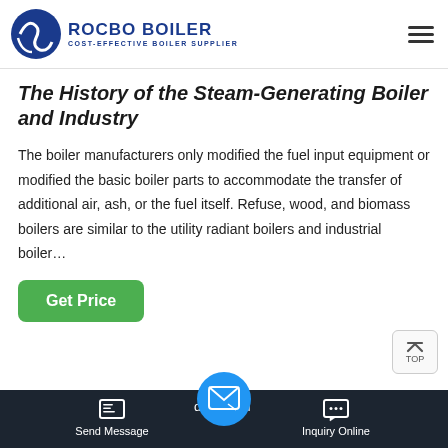[Figure (logo): Rocbo Boiler logo with circular blue icon and company name 'ROCBO BOILER, COST-EFFECTIVE BOILER SUPPLIER']
The History of the Steam-Generating Boiler and Industry
The boiler manufacturers only modified the fuel input equipment or modified the basic boiler parts to accommodate the transfer of additional air, ash, or the fuel itself. Refuse, wood, and biomass boilers are similar to the utility radiant boilers and industrial boiler…
Hot News
Send Message | Inquiry Online